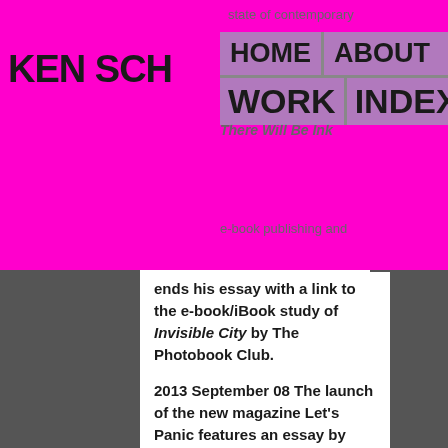KEN SCH
HOME | ABOUT | WORK | INDEX | CONT
state of contemporary
There Will Be Ink
e-book publishing and
ends his essay with a link to the e-book/iBook study of Invisible City by The Photobook Club.
2013 September 08 The launch of the new magazine Let’s Panic features an essay by Ken Schles and reproductions from Invisible City.
2013 May 30 A chance encounter led to this